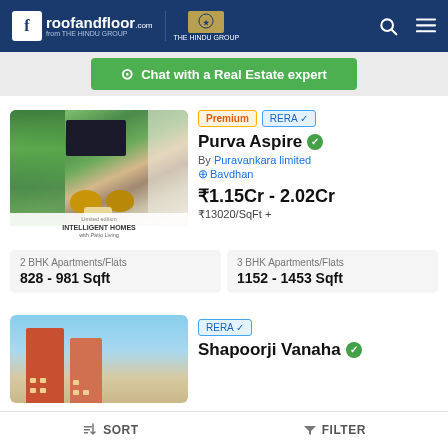roofandfloor.com | THE HINDU GROUP
Chat with a Real Estate expert
[Figure (photo): Interior photo of a luxury apartment showing green wall, wicker furniture, and overlay text 'Limited Edition INTELLIGENT HOMES with Patio Living']
Premium | RERA ✓
Purva Aspire
By Puravankara limited
Bavdhan
₹1.15Cr - 2.02Cr
₹13020/SqFt +
| Type | Size |
| --- | --- |
| 2 BHK Apartments/Flats | 828 - 981 Sqft |
| 3 BHK Apartments/Flats | 1152 - 1453 Sqft |
[Figure (photo): Exterior photo of tall residential towers against blue sky]
RERA ✓
Shapoorji Vanaha
SORT | FILTER